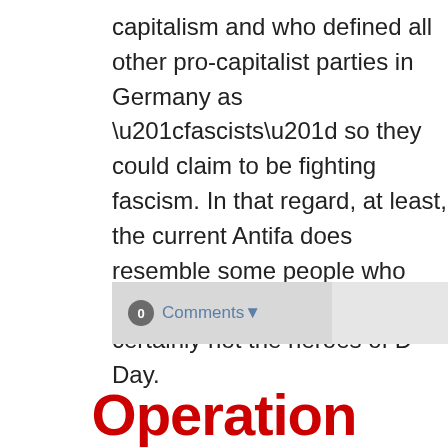capitalism and who defined all other pro-capitalist parties in Germany as “fascists” so they could claim to be fighting fascism. In that regard, at least, the current Antifa does resemble some people who were around decades ago, but certainly not the heroes of D-Day.
0 Comments▾
Operation